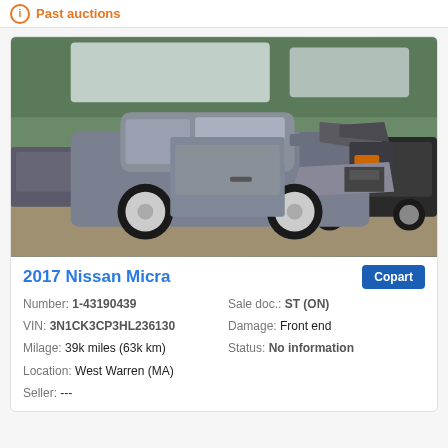Past auctions
[Figure (photo): Damaged gray 2017 Nissan Micra with front-end collision damage, hood crumpled, headlight area destroyed, sitting in a salvage yard with other vehicles visible in background]
2017 Nissan Micra
Number: 1-43190439
Sale doc.: ST (ON)
VIN: 3N1CK3CP3HL236130
Damage: Front end
Milage: 39k miles (63k km)
Status: No information
Location: West Warren (MA)
Seller: ---